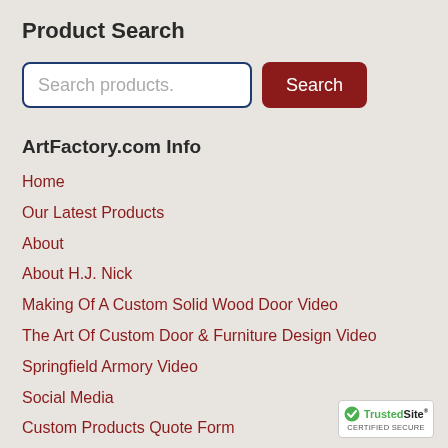Product Search
[Figure (screenshot): Search bar with placeholder text 'Search products.' and a dark red 'Search' button]
ArtFactory.com Info
Home
Our Latest Products
About
About H.J. Nick
Making Of A Custom Solid Wood Door Video
The Art Of Custom Door & Furniture Design Video
Springfield Armory Video
Social Media
Custom Products Quote Form
[Figure (logo): TrustedSite Certified Secure badge]